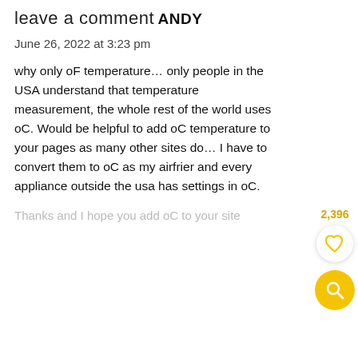leave a comment
ANDY
June 26, 2022 at 3:23 pm
why only oF temperature... only people in the USA understand that temperature measurement, the whole rest of the world uses oC. Would be helpful to add oC temperature to your pages as many other sites do... I have to convert them to oC as my airfrier and every appliance outside the usa has settings in oC.
Thanks and I hope you add oC to your site